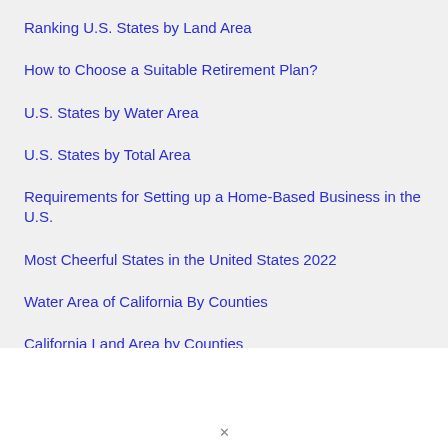Ranking U.S. States by Land Area
How to Choose a Suitable Retirement Plan?
U.S. States by Water Area
U.S. States by Total Area
Requirements for Setting up a Home-Based Business in the U.S.
Most Cheerful States in the United States 2022
Water Area of California By Counties
California Land Area by Counties
Follow Me